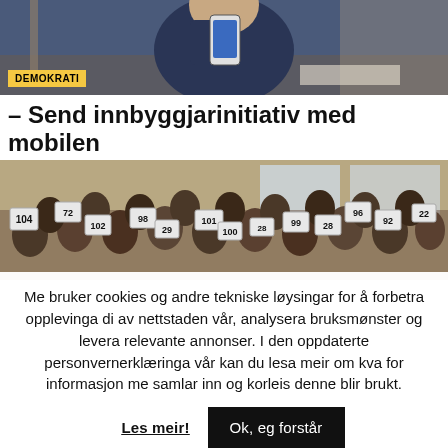[Figure (photo): Person in dark sweater holding a smartphone, photographed indoors in what appears to be an official setting with flags in background.]
DEMOKRATI
– Send innbyggjarinitiativ med mobilen
[Figure (photo): Crowd of people in an auditorium or meeting room holding up numbered signs/placards.]
Me bruker cookies og andre tekniske løysingar for å forbetra opplevinga di av nettstaden vår, analysera bruksmønster og levera relevante annonser. I den oppdaterte personvernerklæringa vår kan du lesa meir om kva for informasjon me samlar inn og korleis denne blir brukt.
Les meir!
Ok, eg forstår